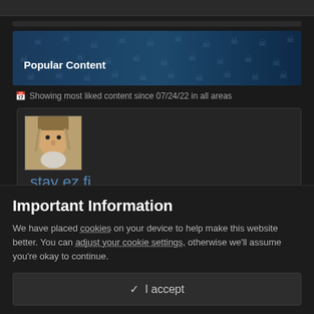[Figure (screenshot): Top gray bar area]
Popular Content
Showing most liked content since 07/24/22 in all areas
[Figure (photo): User avatar showing an illustrated old man character]
stay ez fi
X WE ARE138 and 12 others liked a status update by Lay tha Dds
stav ez fi
Important Information
We have placed cookies on your device to help make this website better. You can adjust your cookie settings, otherwise we'll assume you're okay to continue.
✓  I accept